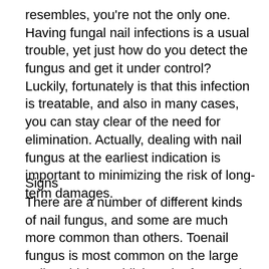resembles, you're not the only one. Having fungal nail infections is a usual trouble, yet just how do you detect the fungus and get it under control? Luckily, fortunately is that this infection is treatable, and also in many cases, you can stay clear of the need for elimination. Actually, dealing with nail fungus at the earliest indication is important to minimizing the risk of long-term damages.
Signs
There are a number of different kinds of nail fungus, and some are much more common than others. Toenail fungus is most common on the large nails, which establish at the front and sides of the nail. Less generally, the fungi starts at the base of the nail, which is commonly extra prevalent in individuals